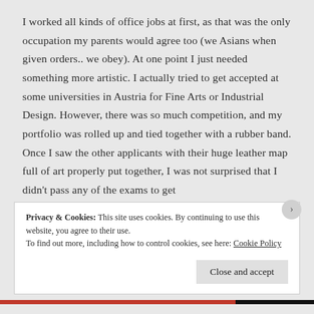I worked all kinds of office jobs at first, as that was the only occupation my parents would agree too (we Asians when given orders.. we obey). At one point I just needed something more artistic. I actually tried to get accepted at some universities in Austria for Fine Arts or Industrial Design. However, there was so much competition, and my portfolio was rolled up and tied together with a rubber band. Once I saw the other applicants with their huge leather map full of art properly put together, I was not surprised that I didn't pass any of the exams to get
Privacy & Cookies: This site uses cookies. By continuing to use this website, you agree to their use.
To find out more, including how to control cookies, see here: Cookie Policy
Close and accept